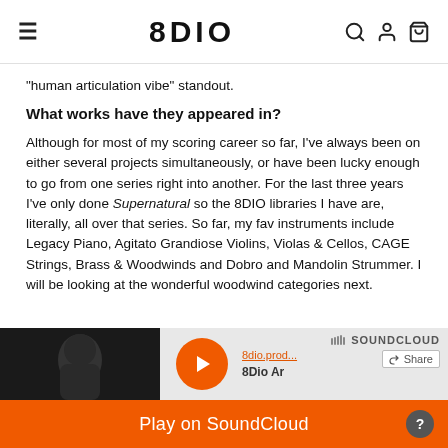8DIO
"human articulation vibe" standout.
What works have they appeared in?
Although for most of my scoring career so far, I've always been on either several projects simultaneously, or have been lucky enough to go from one series right into another. For the last three years I've only done Supernatural so the 8DIO libraries I have are, literally, all over that series. So far, my fav instruments include Legacy Piano, Agitato Grandiose Violins, Violas & Cellos, CAGE Strings, Brass & Woodwinds and Dobro and Mandolin Strummer. I will be looking at the wonderful woodwind categories next.
[Figure (screenshot): SoundCloud embedded player widget showing a play button, track info '8dio.prod...' and '8Dio Ar', SoundCloud logo, Share button, and an orange 'Play on SoundCloud' bar at the bottom with a help icon.]